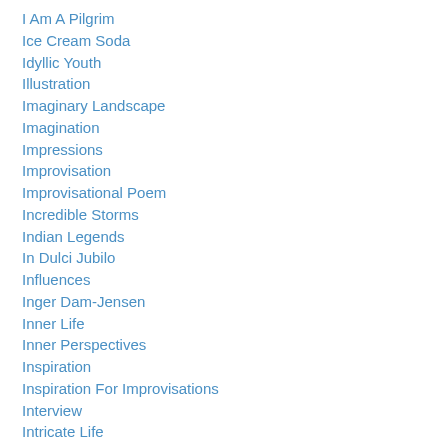I Am A Pilgrim
Ice Cream Soda
Idyllic Youth
Illustration
Imaginary Landscape
Imagination
Impressions
Improvisation
Improvisational Poem
Incredible Storms
Indian Legends
In Dulci Jubilo
Influences
Inger Dam-Jensen
Inner Life
Inner Perspectives
Inspiration
Inspiration For Improvisations
Interview
Intricate Life